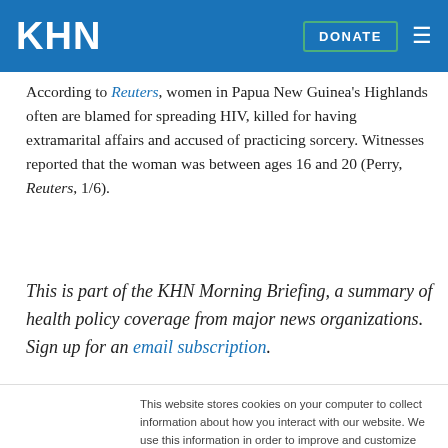KHN | DONATE
According to Reuters, women in Papua New Guinea's Highlands often are blamed for spreading HIV, killed for having extramarital affairs and accused of practicing sorcery. Witnesses reported that the woman was between ages 16 and 20 (Perry, Reuters, 1/6).
This is part of the KHN Morning Briefing, a summary of health policy coverage from major news organizations. Sign up for an email subscription.
This website stores cookies on your computer to collect information about how you interact with our website. We use this information in order to improve and customize your browsing experience and for analytics and metrics about our visitors both on this website and other media. To find out more about the cookies we use, see our Privacy Policy.